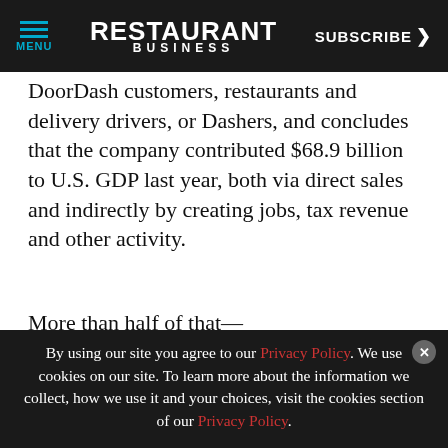MENU | RESTAURANT BUSINESS | SUBSCRIBE >
DoorDash customers, restaurants and delivery drivers, or Dashers, and concludes that the company contributed $68.9 billion to U.S. GDP last year, both via direct sales and indirectly by creating jobs, tax revenue and other activity.
More than half of that—$38.4 billion—came from more than 500,000 restaurants and other businesses used DoorDash last year, the study found.
By using our site you agree to our Privacy Policy. We use cookies on our site. To learn more about the information we collect, how we use it and your choices, visit the cookies section of our Privacy Policy.